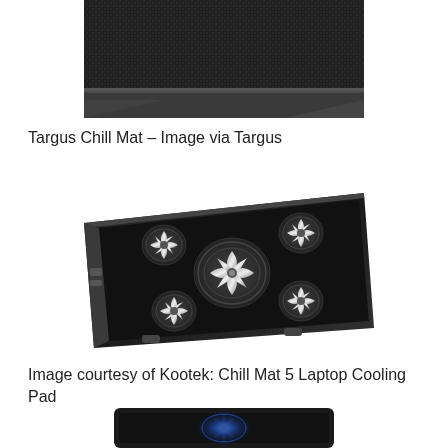[Figure (photo): Top portion of a Targus Chill Mat laptop cooling pad, showing black mesh surface and edge, cropped at top]
Targus Chill Mat – Image via Targus
[Figure (photo): Kootek Chill Mat 5 Laptop Cooling Pad shown at an angle, black rectangular pad with 5 silver metallic fans visible through the grill]
Image courtesy of Kootek: Chill Mat 5 Laptop Cooling Pad
[Figure (photo): Bottom portion of a laptop cooling pad with blue LED fan, partially cropped]